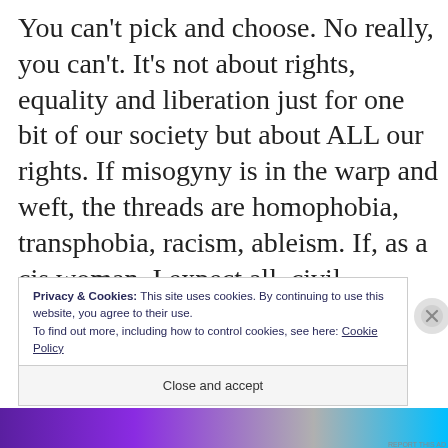You can't pick and choose. No really, you can't. It's not about rights, equality and liberation just for one bit of our society but about ALL our rights. If misogyny is in the warp and weft, the threads are homophobia, transphobia, racism, ableism. If, as a cis woman, I expect all  civil, societal and human rights and responsibilities, then that same principle applies to everyone.
Privacy & Cookies: This site uses cookies. By continuing to use this website, you agree to their use.
To find out more, including how to control cookies, see here: Cookie Policy
Close and accept